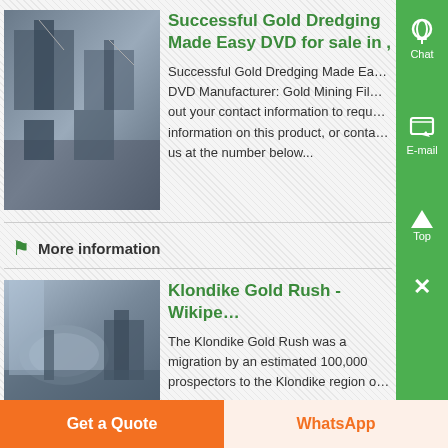[Figure (photo): Aerial/industrial photo of a mining or industrial facility with construction cranes and machinery]
Successful Gold Dredging Made Easy DVD for sale in ,
Successful Gold Dredging Made Easy DVD Manufacturer: Gold Mining Fill out your contact information to request information on this product, or contact us at the number below...
More information
[Figure (photo): Industrial facility with large circular tank/structure and metal buildings]
Klondike Gold Rush - Wikipe
The Klondike Gold Rush was a migration by an estimated 100,000 prospectors to the Klondike region o